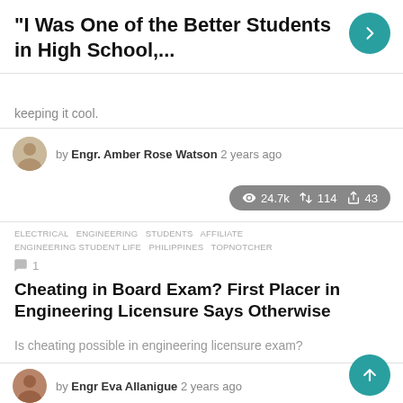“I Was One of the Better Students in High School,...
keeping it cool.
by Engr. Amber Rose Watson 2 years ago
24.7k  114  43
ELECTRICAL  ENGINEERING  STUDENTS  AFFILIATE  ENGINEERING STUDENT LIFE  PHILIPPINES  TOPNOTCHER
1
Cheating in Board Exam? First Placer in Engineering Licensure Says Otherwise
Is cheating possible in engineering licensure exam?
by Engr Eva Allanigue 2 years ago